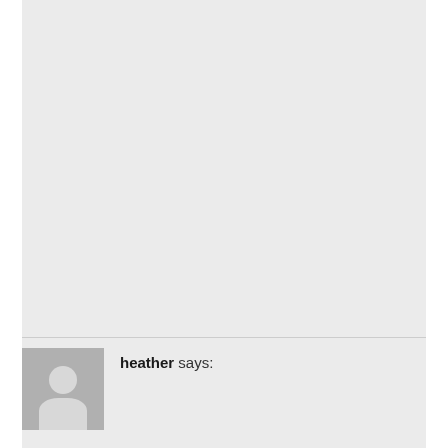[Figure (illustration): Large light gray rectangular area filling most of the page, representing a blank/placeholder content area of a web page or blog post.]
heather says: